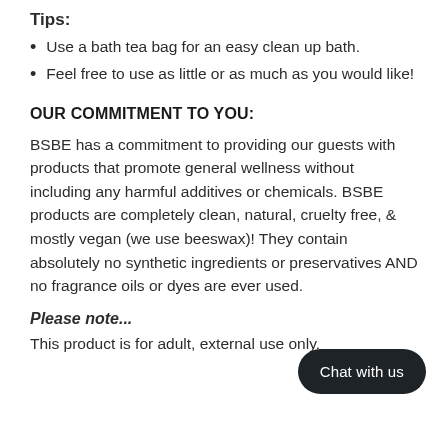Tips:
Use a bath tea bag for an easy clean up bath.
Feel free to use as little or as much as you would like!
OUR COMMITMENT TO YOU:
BSBE has a commitment to providing our guests with products that promote general wellness without including any harmful additives or chemicals. BSBE products are completely clean, natural, cruelty free, & mostly vegan (we use beeswax)! They contain absolutely no synthetic ingredients or preservatives AND no fragrance oils or dyes are ever used.
Please note...
This product is for adult, external use only.